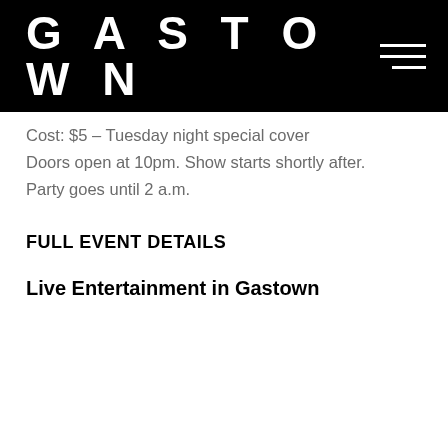GASTOWN
Cost: $5 – Tuesday night special cover
Doors open at 10pm. Show starts shortly after.
Party goes until 2 a.m.
FULL EVENT DETAILS
Live Entertainment in Gastown